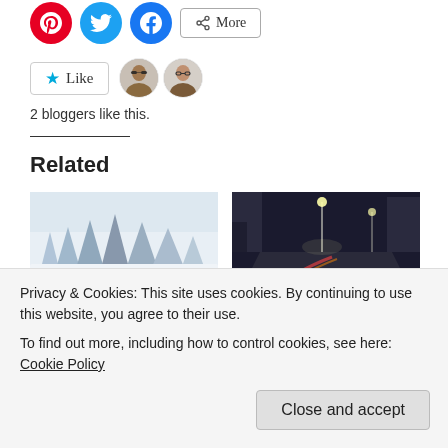[Figure (other): Social share buttons row: Pinterest (red circle), Twitter (blue circle), Facebook (blue circle), and a More button with share icon]
[Figure (other): Like button with star icon and two blogger avatar thumbnails]
2 bloggers like this.
Related
[Figure (photo): Snowy winter landscape with text overlay reading 'Not a Professional' in red script]
[Figure (photo): Night street scene with light trails from passing cars]
Not a Professional.
Mobile Editing.
Privacy & Cookies: This site uses cookies. By continuing to use this website, you agree to their use.
To find out more, including how to control cookies, see here: Cookie Policy
Close and accept